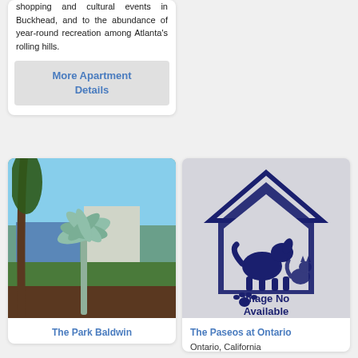shopping and cultural events in Buckhead, and to the abundance of year-round recreation among Atlanta's rolling hills.
More Apartment Details
[Figure (photo): Exterior photo of The Park Baldwin apartment complex showing a building with palm tree silhouette sign and tropical landscaping.]
The Park Baldwin
[Figure (illustration): Image Not Available placeholder showing a dark blue house outline icon with dog and cat silhouettes and a paw print, with text 'Image No Available'.]
The Paseos at Ontario
Ontario, California